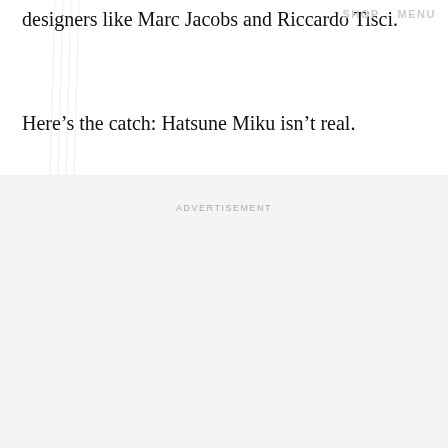designers like Marc Jacobs and Riccardo Tisci.
SHOP    MENU
Here’s the catch: Hatsune Miku isn’t real.
ADVERTISEMENT